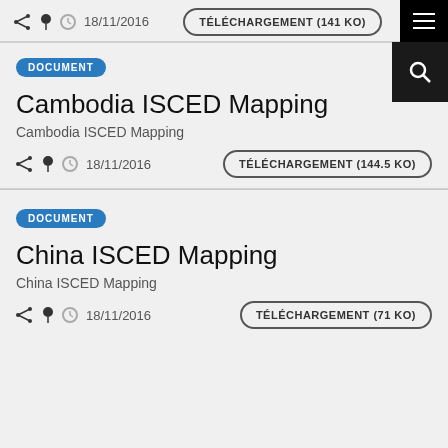18/11/2016   TÉLÉCHARGEMENT (141 KO)
DOCUMENT
Cambodia ISCED Mapping
Cambodia ISCED Mapping
18/11/2016   TÉLÉCHARGEMENT (144.5 KO)
DOCUMENT
China ISCED Mapping
China ISCED Mapping
18/11/2016   TÉLÉCHARGEMENT (71 KO)